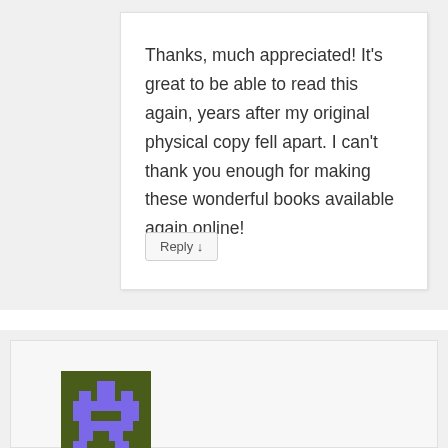Thanks, much appreciated! It's great to be able to read this again, years after my original physical copy fell apart. I can't thank you enough for making these wonderful books available again online!
Reply ↓
[Figure (illustration): Pixel art avatar icon showing a purple space-invader-like figure on dark olive/green background]
Pete B on August 8, 2017 at 5:55 am said:
Hey there Pix! Thanks so much for uploading these books. I just wanted to let you know 'Ultima Collection – Prima's Official Guide (pdf)' doesn't